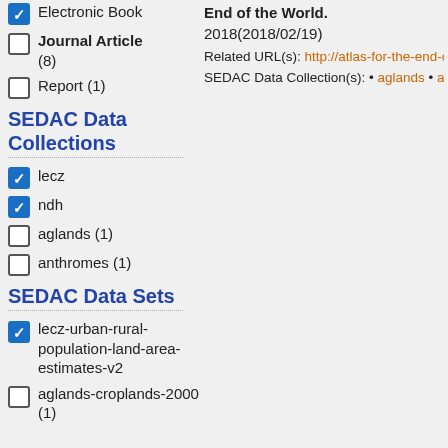Electronic Book (checked)
Journal Article (8)
Report (1)
SEDAC Data Collections
lecz (checked)
ndh (checked)
aglands (1)
anthromes (1)
SEDAC Data Sets
lecz-urban-rural-population-land-area-estimates-v2 (checked)
aglands-croplands-2000 (1)
End of the World. 2018(2018/02/19)
Related URL(s): http://atlas-for-the-end-of-th...
SEDAC Data Collection(s): • aglands • anthromes